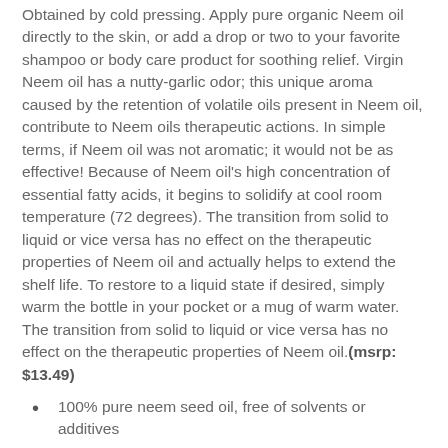Obtained by cold pressing. Apply pure organic Neem oil directly to the skin, or add a drop or two to your favorite shampoo or body care product for soothing relief. Virgin Neem oil has a nutty-garlic odor; this unique aroma caused by the retention of volatile oils present in Neem oil, contribute to Neem oils therapeutic actions. In simple terms, if Neem oil was not aromatic; it would not be as effective! Because of Neem oil's high concentration of essential fatty acids, it begins to solidify at cool room temperature (72 degrees). The transition from solid to liquid or vice versa has no effect on the therapeutic properties of Neem oil and actually helps to extend the shelf life. To restore to a liquid state if desired, simply warm the bottle in your pocket or a mug of warm water. The transition from solid to liquid or vice versa has no effect on the therapeutic properties of Neem oil.(msrp: $13.49)
100% pure neem seed oil, free of solvents or additives
High potency: tested to ensure at least 2400ppm Azadirachtin content